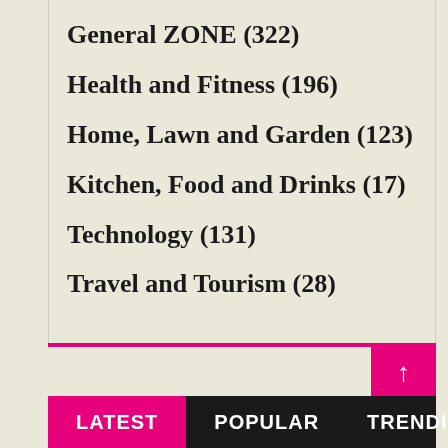General ZONE (322)
Health and Fitness (196)
Home, Lawn and Garden (123)
Kitchen, Food and Drinks (17)
Technology (131)
Travel and Tourism (28)
LATEST  POPULAR  TRENDING